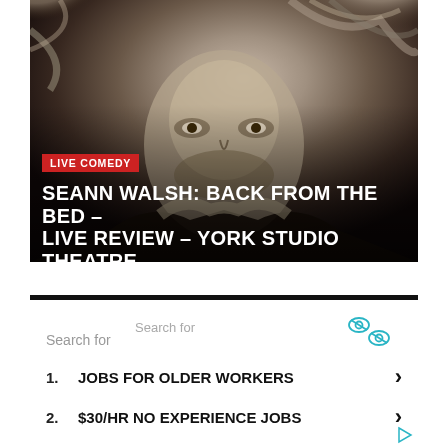[Figure (photo): Black and white close-up photo of a man with wild curly hair wearing a fur-trimmed jacket, looking directly at camera]
LIVE COMEDY
SEANN WALSH: BACK FROM THE BED – LIVE REVIEW – YORK STUDIO THEATRE
Search for
Search for
1. JOBS FOR OLDER WORKERS
2. $30/HR NO EXPERIENCE JOBS